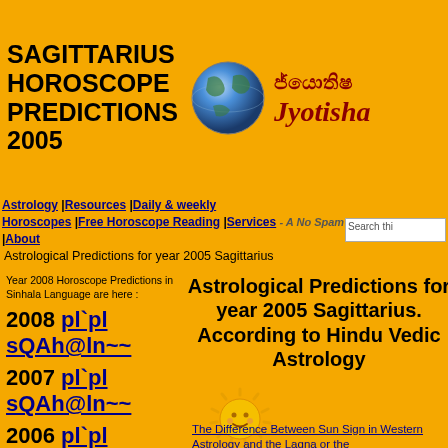SAGITTARIUS HOROSCOPE PREDICTIONS 2005
[Figure (illustration): Globe/Earth illustration in the header banner]
[Figure (logo): Jyotisha logo with Sinhala script text and italic Jyotisha branding]
Astrology |Resources |Daily & weekly Horoscopes |Free Horoscope Reading |Services - A No Spam Site - |About
Astrological Predictions for year 2005 Sagittarius
Year 2008 Horoscope Predictions in Sinhala Language are here :
2008 pl`pl sQAh@ln~~
2007 pl`pl sQAh@ln~~
2006 pl`pl sQAh@ln~
Astrological Predictions for year 2005 Sagittarius. According to Hindu Vedic Astrology
[Figure (illustration): Smiling golden sun illustration]
The Difference Between Sun Sign in Western Astrology and the Lagna or the